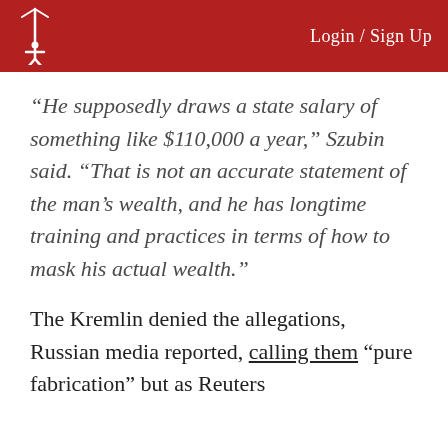Login / Sign Up
“He supposedly draws a state salary of something like $110,000 a year,” Szubin said. “That is not an accurate statement of the man’s wealth, and he has longtime training and practices in terms of how to mask his actual wealth.”
The Kremlin denied the allegations, Russian media reported, calling them “pure fabrication” but as Reuters